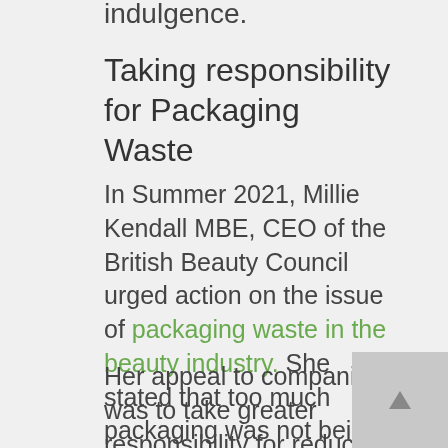indulgence.
Taking responsibility for Packaging Waste
In Summer 2021, Millie Kendall MBE, CEO of the British Beauty Council urged action on the issue of packaging waste in the beauty industry. She stated that too much packaging was not being recycled because of compound packaging materials and unclear labelling. She highlighted that the current model put emphasis on the customer to take action.
Her appeal to companies was to take greater responsibility for reducing waste and increasing sustainability. It was made clear that neither the